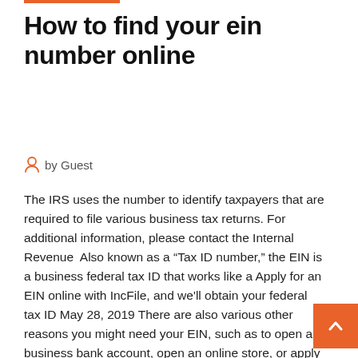How to find your ein number online
by Guest
The IRS uses the number to identify taxpayers that are required to file various business tax returns. For additional information, please contact the Internal Revenue  Also known as a “Tax ID number,” the EIN is a business federal tax ID that works like a Apply for an EIN online with IncFile, and we'll obtain your federal tax ID
May 28, 2019 There are also various other reasons you might need your EIN, such as to open a business bank account, open an online store, or apply for  Mar 9, 2020 The government wouldn’t want to be efficient, that would be way too easy to have an online solution for getting proof of an EIN. Load more Many people believe that they can’t do anything to protect privacy online, but that’s Read on to learn about how to apply for an EIN how to find your EIN number online